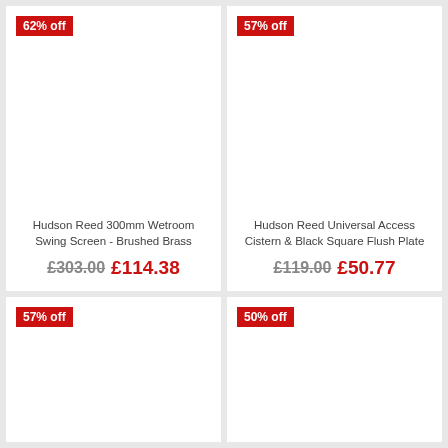62% off
Hudson Reed 300mm Wetroom Swing Screen - Brushed Brass
£303.00 £114.38
57% off
Hudson Reed Universal Access Cistern & Black Square Flush Plate
£119.00 £50.77
57% off
50% off